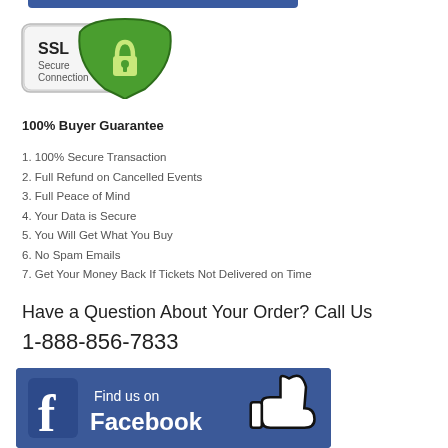[Figure (logo): SSL Secure Connection badge with green shield and padlock icon]
100% Buyer Guarantee
1. 100% Secure Transaction
2. Full Refund on Cancelled Events
3. Full Peace of Mind
4. Your Data is Secure
5. You Will Get What You Buy
6. No Spam Emails
7. Get Your Money Back If Tickets Not Delivered on Time
Have a Question About Your Order? Call Us
1-888-856-7833
[Figure (logo): Facebook Find us on Facebook banner with thumbs up icon]